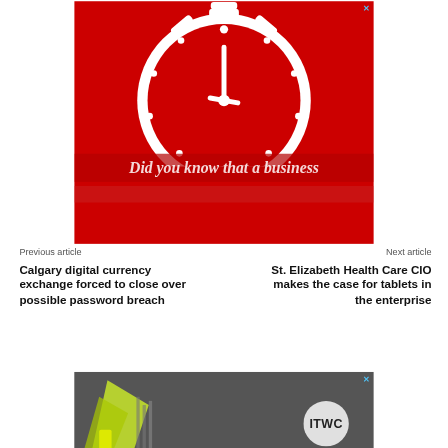[Figure (advertisement): Red background advertisement banner with a white stopwatch/timer icon in the center. Text reads 'Did you know that a business' in italic font with a semi-transparent overlay band. Close button (X) in top right corner.]
Previous article
Next article
Calgary digital currency exchange forced to close over possible password breach
St. Elizabeth Health Care CIO makes the case for tablets in the enterprise
[Figure (advertisement): Grey/dark background advertisement with yellow/green mechanical elements on the left side and an ITWC logo circle on the right. Close button (X) in top right corner.]